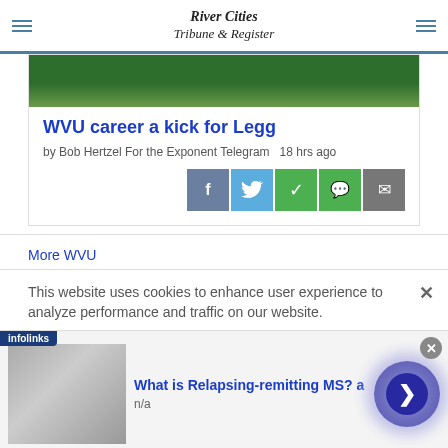River Cities Tribune & Register
[Figure (photo): Partial view of a sports/soccer field with green grass, bottom portion of image visible]
WVU career a kick for Legg
by Bob Hertzel For the Exponent Telegram   18 hrs ago
[Figure (infographic): Social sharing buttons: Facebook, Twitter, WhatsApp, Message, Email]
More WVU
This website uses cookies to enhance user experience to analyze performance and traffic on our website.
[Figure (infographic): Infolinks ad label and advertisement for Relapsing-remitting MS with image of person and navigation arrow]